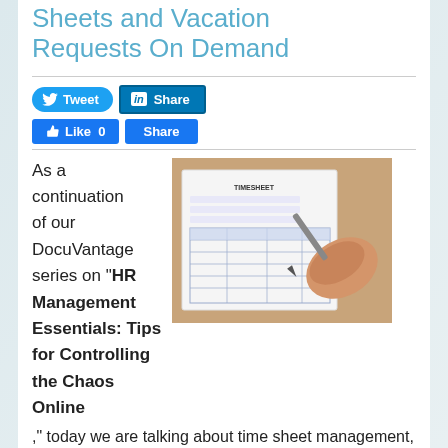Sheets and Vacation Requests On Demand
[Figure (screenshot): Social media share buttons: Tweet (Twitter), Share (LinkedIn), Like 0 (Facebook), Share (Facebook)]
[Figure (photo): A hand holding a pen filling out a timesheet form on a wooden desk]
As a continuation of our DocuVantage series on "HR Management Essentials: Tips for Controlling the Chaos Online," today we are talking about time sheet management, another one of the many responsibilities of a Human Resources department.